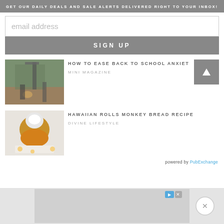GET OUR DAILY DEALS AND SALE ALERTS DELIVERED RIGHT TO YOUR INBOX!
email address
SIGN UP
[Figure (photo): Two children playing basketball outdoors near a hoop]
HOW TO EASE BACK TO SCHOOL ANXIET
MINI MAGAZINE
[Figure (photo): Hawaiian rolls monkey bread dessert on a plate]
HAWAIIAN ROLLS MONKEY BREAD RECIPE
DIVINE LIFESTYLE
powered by PubExchange
[Figure (other): Advertisement banner at the bottom of the page]